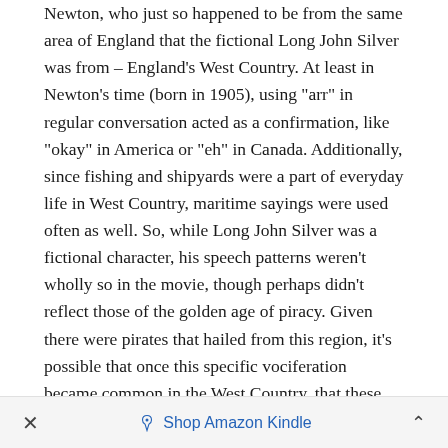Newton, who just so happened to be from the same area of England that the fictional Long John Silver was from – England's West Country. At least in Newton's time (born in 1905), using "arr" in regular conversation acted as a confirmation, like "okay" in America or "eh" in Canada. Additionally, since fishing and shipyards were a part of everyday life in West Country, maritime sayings were used often as well. So, while Long John Silver was a fictional character, his speech patterns weren't wholly so in the movie, though perhaps didn't reflect those of the golden age of piracy. Given there were pirates that hailed from this region, it's possible that once this specific vociferation became common in the West Country, that these pirates said "arrr."
All that being said, many more pirates came from different parts of England and non-English speaking
× Shop Amazon Kindle ^